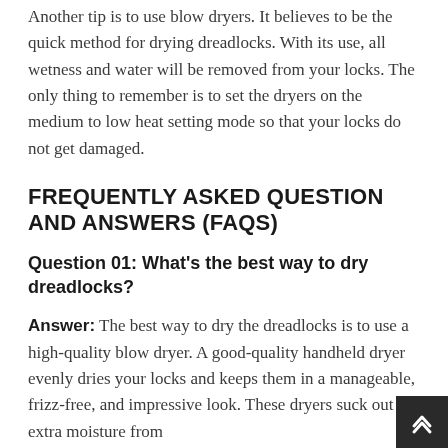Another tip is to use blow dryers. It believes to be the quick method for drying dreadlocks. With its use, all wetness and water will be removed from your locks. The only thing to remember is to set the dryers on the medium to low heat setting mode so that your locks do not get damaged.
FREQUENTLY ASKED QUESTION AND ANSWERS (FAQS)
Question 01: What's the best way to dry dreadlocks?
Answer: The best way to dry the dreadlocks is to use a high-quality blow dryer. A good-quality handheld dryer evenly dries your locks and keeps them in a manageable, frizz-free, and impressive look. These dryers suck out all extra moisture from